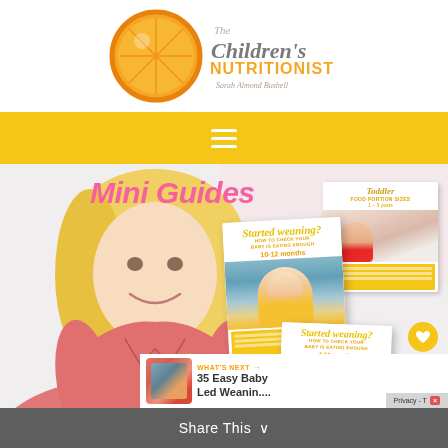[Figure (logo): The Children's Nutritionist logo with orange slice and cursive text, Sarah Almond Bushell]
[Figure (screenshot): Yellow navigation bar with hamburger menu icon (three white lines)]
Mini Guides
[Figure (photo): Blonde woman in pink/coral jacket smiling, seated, with overlaid mini guide booklet covers about weaning and toddler nutrition]
Toddler FOOD PORTION SIZES 1 - 3 years
Started weaning? HOW TO CHECK YOUR BABY IS EATING ENOUGH 10-12 months
Started weaning? HOW TO CHECK YOUR BABY IS EATING ENOUGH 4-11 months
WHAT'S NEXT → 35 Easy Baby Led Weanin....
Share This ∨
Privacy - T×